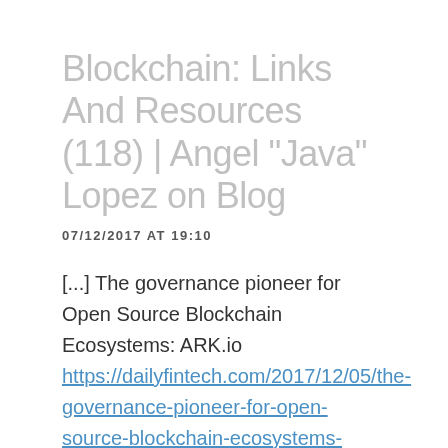Blockchain: Links And Resources (118) | Angel "Java" Lopez on Blog
07/12/2017 AT 19:10
[...] The governance pioneer for Open Source Blockchain Ecosystems: ARK.io https://dailyfintech.com/2017/12/05/the-governance-pioneer-for-open-source-blockchain-ecosystems-ark&#8230; [...]